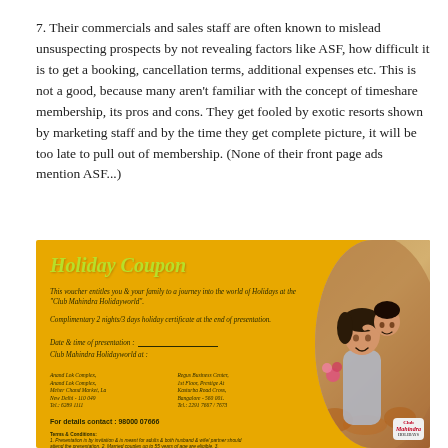7. Their commercials and sales staff are often known to mislead unsuspecting prospects by not revealing factors like ASF, how difficult it is to get a booking, cancellation terms, additional expenses etc. This is not a good, because many aren't familiar with the concept of timeshare membership, its pros and cons. They get fooled by exotic resorts shown by marketing staff and by the time they get complete picture, it will be too late to pull out of membership. (None of their front page ads mention ASF...)
[Figure (photo): Photo of a yellow Club Mahindra Holidayworld Holiday Coupon voucher with text about a complimentary 2 nights/3 days holiday certificate, date and time of presentation line, Club Mahindra Holidayworld at line, terms and conditions, and a hotline number. On the right side a circular photo of a woman and child embracing, with a Club Mahindra logo badge in the bottom right corner.]